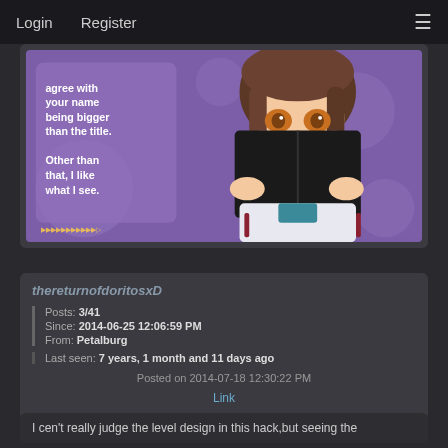Login   Register   ☰
[Figure (illustration): Forum post screenshot showing an anime character with brown hair and amber eyes, wearing a school uniform, holding a dark book/object up to their face. Purple background with text overlay reading 'agree with your name being bigger than the title. Other than that, I like what I see.']
thereturnofdoritosxD
Posts: 3/41
Since: 2014-06-25 12:06:59 PM
From: Petalburg
Last seen: 7 years, 1 month and 11 days ago
Posted on 2014-07-18 12:30:22 PM
Link
I cen't really judge the level design in this hack,but seeing the